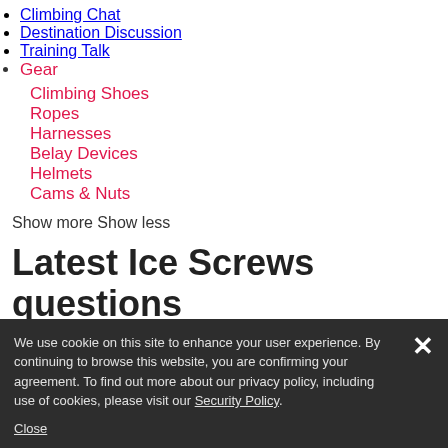Climbing Chat
Destination Discussion
Training Talk
Gear
Climbing Shoes
Ropes
Harnesses
Belay Devices
Helmets
Cams & Nuts
Show more Show less
Latest Ice Screws questions
Latest
We use cookie on this site to enhance your user experience. By continuing to browse this website, you are confirming your agreement. To find out more about our privacy policy, including use of cookies, please visit our Security Policy.
Close